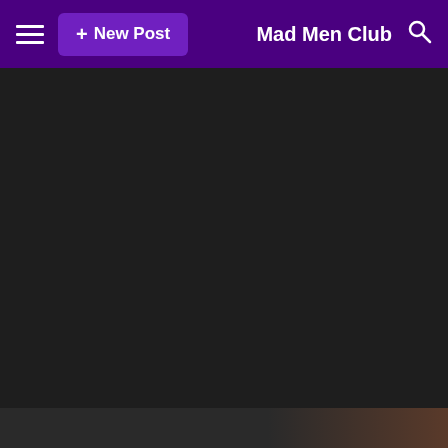+ New Post  Mad Men Club
[Figure (screenshot): Dark background area representing a post image or empty content area]
A Few Observations of "MAD MEN": (3.11) "The Gypsy and the Hobo"
posted by DR76